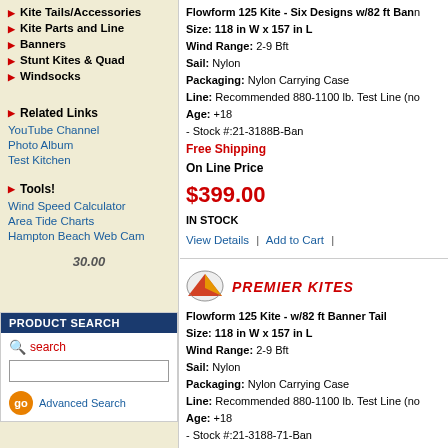Kite Tails/Accessories
Kite Parts and Line
Banners
Stunt Kites & Quad
Windsocks
Related Links
YouTube Channel
Photo Album
Test Kitchen
Tools!
Wind Speed Calculator
Area Tide Charts
Hampton Beach Web Cam
30.00
PRODUCT SEARCH
search
Advanced Search
Flowform 125 Kite - Six Designs w/82 ft Bann... Size: 118 in W x 157 in L Wind Range: 2-9 Bft Sail: Nylon Packaging: Nylon Carrying Case Line: Recommended 880-1100 lb. Test Line (no... Age: +18 - Stock #:21-3188B-Ban Free Shipping On Line Price $399.00 IN STOCK
View Details | Add to Cart |
[Figure (logo): Premier Kites brand logo - stylized kite with red and yellow colors]
Flowform 125 Kite - w/82 ft Banner Tail Size: 118 in W x 157 in L Wind Range: 2-9 Bft Sail: Nylon Packaging: Nylon Carrying Case Line: Recommended 880-1100 lb. Test Line (no... Age: +18 - Stock #:21-3188-71-Ban Free Shipping On Line Price $429.00 IN STOCK